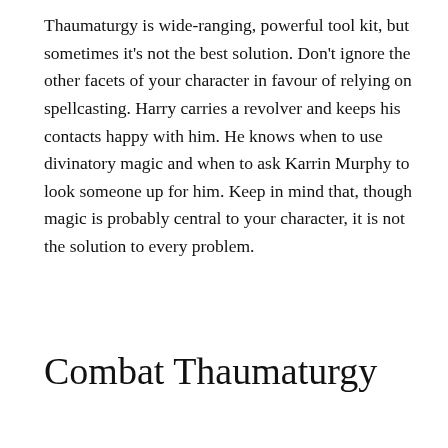Thaumaturgy is wide-ranging, powerful tool kit, but sometimes it’s not the best solution. Don’t ignore the other facets of your character in favour of relying on spellcasting. Harry carries a revolver and keeps his contacts happy with him. He knows when to use divinatory magic and when to ask Karrin Murphy to look someone up for him. Keep in mind that, though magic is probably central to your character, it is not the solution to every problem.
Combat Thaumaturgy
One of the main distinctions between thaumaturgy and evocation is that evocation is combat magic. But thaumaturgy can be combat magic, too, as long as you can perform it all within the confines of a conflict scene. There is, in fact, something deeply cool about the idea of a Wizard scrambling to pull together a ritual amid a nasty firefight, with his or her companions fighting desperately to provide the needed time.
If you’re looking at doing this, there are a few things you need to keep in mind. First, the casting time of a thaumaturgic ritual is going to be dependent on how fast you can summon the necessary power, which means how big a risk you’re taking trying to control the power. Budget